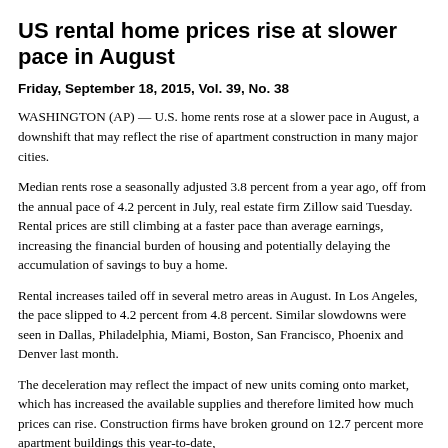US rental home prices rise at slower pace in August
Friday, September 18, 2015, Vol. 39, No. 38
WASHINGTON (AP) — U.S. home rents rose at a slower pace in August, a downshift that may reflect the rise of apartment construction in many major cities.
Median rents rose a seasonally adjusted 3.8 percent from a year ago, off from the annual pace of 4.2 percent in July, real estate firm Zillow said Tuesday. Rental prices are still climbing at a faster pace than average earnings, increasing the financial burden of housing and potentially delaying the accumulation of savings to buy a home.
Rental increases tailed off in several metro areas in August. In Los Angeles, the pace slipped to 4.2 percent from 4.8 percent. Similar slowdowns were seen in Dallas, Philadelphia, Miami, Boston, San Francisco, Phoenix and Denver last month.
The deceleration may reflect the impact of new units coming onto market, which has increased the available supplies and therefore limited how much prices can rise. Construction firms have broken ground on 12.7 percent more apartment buildings this year-to-date,